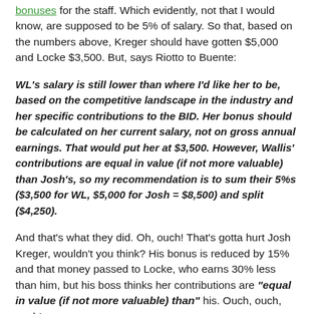bonuses for the staff. Which evidently, not that I would know, are supposed to be 5% of salary. So that, based on the numbers above, Kreger should have gotten $5,000 and Locke $3,500. But, says Riotto to Buente:
WL's salary is still lower than where I'd like her to be, based on the competitive landscape in the industry and her specific contributions to the BID. Her bonus should be calculated on her current salary, not on gross annual earnings. That would put her at $3,500. However, Wallis' contributions are equal in value (if not more valuable) than Josh's, so my recommendation is to sum their 5%s ($3,500 for WL, $5,000 for Josh = $8,500) and split ($4,250).
And that's what they did. Oh, ouch! That's gotta hurt Josh Kreger, wouldn't you think? His bonus is reduced by 15% and that money passed to Locke, who earns 30% less than him, but his boss thinks her contributions are "equal in value (if not more valuable) than" his. Ouch, ouch, ouch!
If he has any self-respect he'll quit the damn job after reading